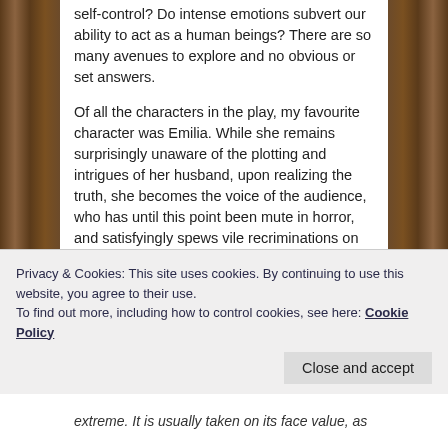self-control?  Do intense emotions subvert our ability to act as a human beings?  There are so many avenues to explore and no obvious or set answers.
Of all the characters in the play, my favourite character was Emilia.  While she remains surprisingly unaware of the plotting and intrigues of her husband, upon realizing the truth, she becomes the voice of the audience, who has until this point been mute in horror, and satisfyingly spews vile recriminations on the head of Othello.
T.S. Eliot had a different view of the last actions of Othello than many older critics:
Privacy & Cookies: This site uses cookies. By continuing to use this website, you agree to their use.
To find out more, including how to control cookies, see here: Cookie Policy
extreme.  It is usually taken on its face value, as